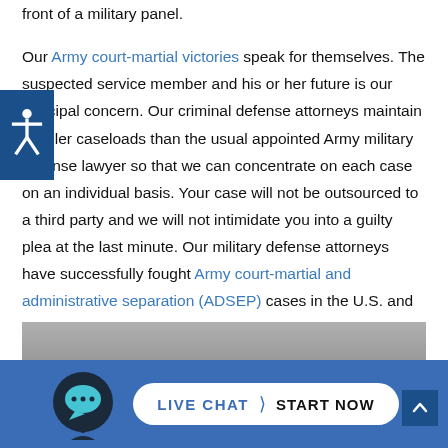front of a military panel.

Our Army court-martial victories speak for themselves. The suspected service member and his or her future is our principal concern. Our criminal defense attorneys maintain smaller caseloads than the usual appointed Army military defense lawyer so that we can concentrate on each case on an individual basis. Your case will not be outsourced to a third party and we will not intimidate you into a guilty plea at the last minute. Our military defense attorneys have successfully fought Army court-martial and administrative separation (ADSEP) cases in the U.S. and globally.
Joint Base San Antonio Court Martial Attorneys
[Figure (photo): Partial photo strip visible at bottom of content area]